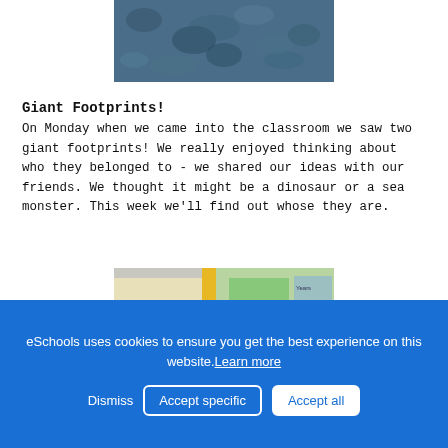[Figure (photo): Top portion of a blue textured image, partially cropped at the top of the page]
Giant Footprints!
On Monday when we came into the classroom we saw two giant footprints! We really enjoyed thinking about who they belonged to - we shared our ideas with our friends. We thought it might be a dinosaur or a sea monster. This week we'll find out whose they are.
[Figure (photo): Classroom photo showing children standing in front of display boards and educational materials]
eSchools uses cookies to ensure you get the best experience on this website. Learn more
Dismiss  Accept specific  Accept all